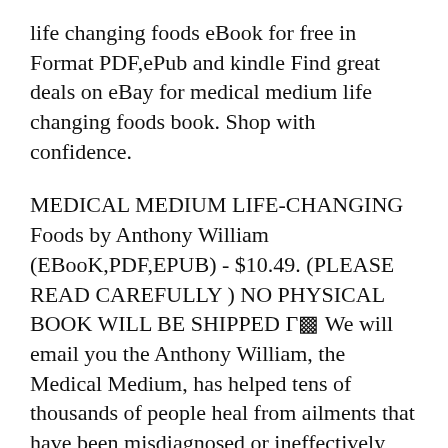life changing foods eBook for free in Format PDF,ePub and kindle Find great deals on eBay for medical medium life changing foods book. Shop with confidence.
MEDICAL MEDIUM LIFE-CHANGING Foods by Anthony William (EBooK,PDF,EPUB) - $10.49. (PLEASE READ CAREFULLY ) NO PHYSICAL BOOK WILL BE SHIPPED Γ? We will email you the Anthony William, the Medical Medium, has helped tens of thousands of people heal from ailments that have been misdiagnosed or ineffectively treated —or that
Medical Medium Life-changing Foods Save Yourself and the Ones You Love With the Hidden Healing Powers of Fruits and Vegetables (Book) :